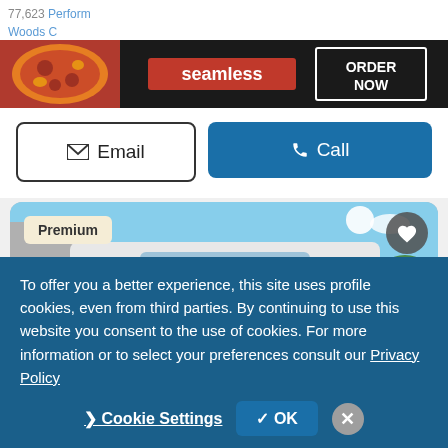77,623 | Perform... | Woods C...
[Figure (screenshot): Seamless food delivery advertisement banner with pizza image on left, Seamless logo in red center, and ORDER NOW button on right with dark background]
[Figure (other): Email and Call action buttons row]
[Figure (photo): White Ford Transit van front view in a car lot, with Premium badge top-left and heart/save button top-right]
To offer you a better experience, this site uses profile cookies, even from third parties. By continuing to use this website you consent to the use of cookies. For more information or to select your preferences consult our Privacy Policy
Cookie Settings   ✓ OK   ✕